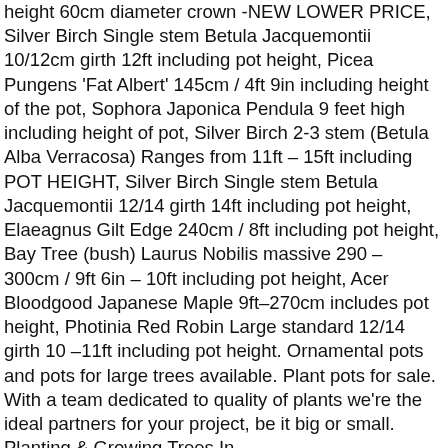height 60cm diameter crown -NEW LOWER PRICE, Silver Birch Single stem Betula Jacquemontii 10/12cm girth 12ft including pot height, Picea Pungens 'Fat Albert' 145cm / 4ft 9in including height of the pot, Sophora Japonica Pendula 9 feet high including height of pot, Silver Birch 2-3 stem (Betula Alba Verracosa) Ranges from 11ft - 15ft including POT HEIGHT, Silver Birch Single stem Betula Jacquemontii 12/14 girth 14ft including pot height, Elaeagnus Gilt Edge 240cm / 8ft including pot height, Bay Tree (bush) Laurus Nobilis massive 290 - 300cm / 9ft 6in - 10ft including pot height, Acer Bloodgood Japanese Maple 9ft-270cm includes pot height, Photinia Red Robin Large standard 12/14 girth 10 -11ft including pot height. Ornamental pots and pots for large trees available. Plant pots for sale. With a team dedicated to quality of plants we're the ideal partners for your project, be it big or small. Planting & Growing Trees In